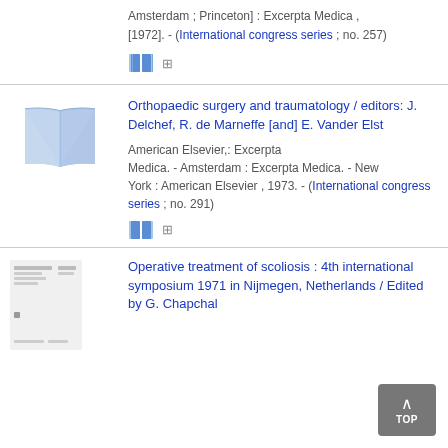Amsterdam ; Princeton] : Excerpta Medica , [1972]. - (International congress series ; no. 257)
[Figure (illustration): Two blue book icons and grid icon]
[Figure (illustration): Blue open book icon]
Orthopaedic surgery and traumatology / editors: J. Delchef, R. de Marneffe [and] E. Vander Elst
American Elsevier,: Excerpta Medica. - Amsterdam : Excerpta Medica. - New York : American Elsevier , 1973. - (International congress series ; no. 291)
[Figure (illustration): Two blue book icons and grid icon]
[Figure (illustration): Small book cover thumbnail]
Operative treatment of scoliosis : 4th international symposium 1971 in Nijmegen, Netherlands / Edited by G. Chapchal